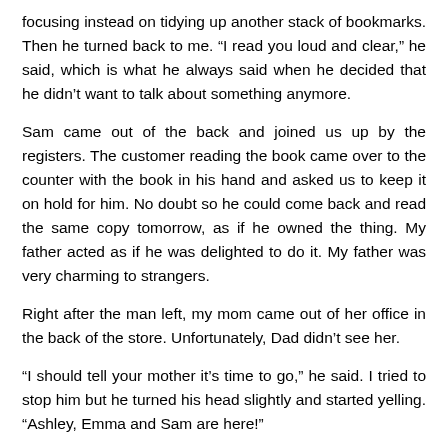focusing instead on tidying up another stack of bookmarks. Then he turned back to me. “I read you loud and clear,” he said, which is what he always said when he decided that he didn’t want to talk about something anymore.
Sam came out of the back and joined us up by the registers. The customer reading the book came over to the counter with the book in his hand and asked us to keep it on hold for him. No doubt so he could come back and read the same copy tomorrow, as if he owned the thing. My father acted as if he was delighted to do it. My father was very charming to strangers.
Right after the man left, my mom came out of her office in the back of the store. Unfortunately, Dad didn’t see her.
“I should tell your mother it’s time to go,” he said. I tried to stop him but he turned his head slightly and started yelling. “Ashley, Emma and Sam are here!”
“Jesus Christ, Colin,” my mom said, putting a hand to her ear. “I’m right here.”
“Oh, sorry.” He made a scrunched face to show that he’d made a